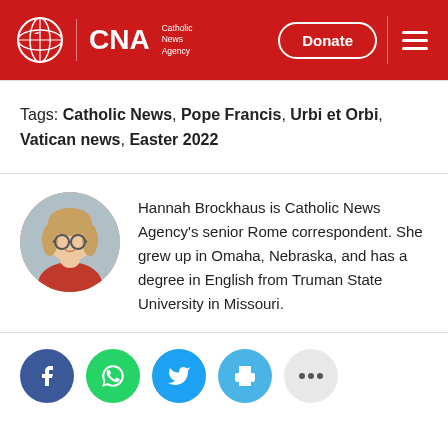CNA Catholic News Agency
Tags: Catholic News, Pope Francis, Urbi et Orbi, Vatican news, Easter 2022
Hannah Brockhaus is Catholic News Agency's senior Rome correspondent. She grew up in Omaha, Nebraska, and has a degree in English from Truman State University in Missouri.
[Figure (other): Social share buttons: Facebook, WhatsApp, Twitter, Print, More]